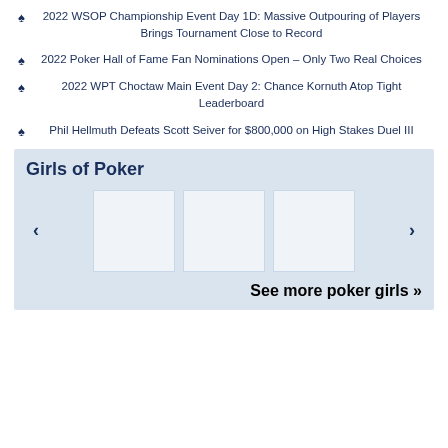2022 WSOP Championship Event Day 1D: Massive Outpouring of Players Brings Tournament Close to Record
2022 Poker Hall of Fame Fan Nominations Open – Only Two Real Choices
2022 WPT Choctaw Main Event Day 2: Chance Kornuth Atop Tight Leaderboard
Phil Hellmuth Defeats Scott Seiver for $800,000 on High Stakes Duel III
Girls of Poker
[Figure (other): Gallery of three image thumbnails with left and right navigation arrows]
See more poker girls »